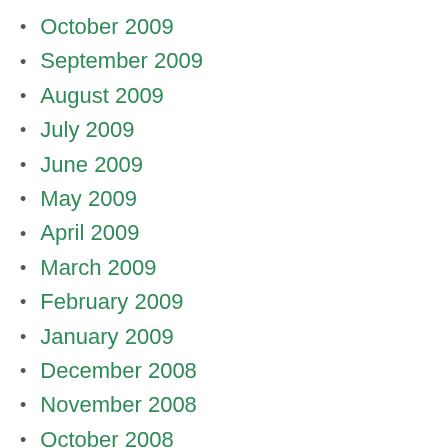October 2009
September 2009
August 2009
July 2009
June 2009
May 2009
April 2009
March 2009
February 2009
January 2009
December 2008
November 2008
October 2008
September 2008
August 2008
July 2008
June 2008